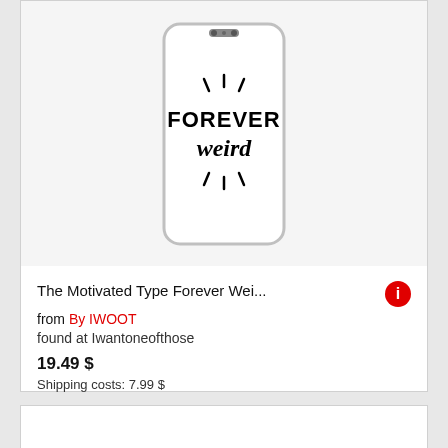[Figure (photo): White iPhone case with 'FOREVER weird' text and decorative lines/rays around the text, displayed on a smartphone case product view]
The Motivated Type Forever Wei...
from By IWOOT
found at Iwantoneofthose
19.49 $
Shipping costs: 7.99 $